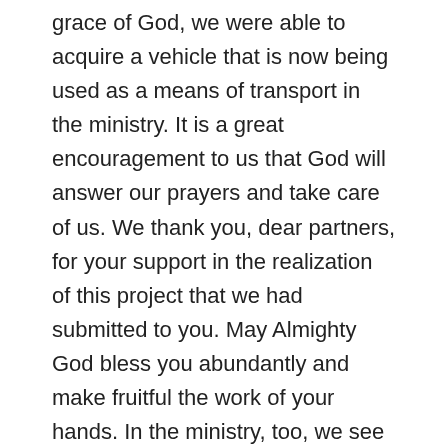grace of God, we were able to acquire a vehicle that is now being used as a means of transport in the ministry. It is a great encouragement to us that God will answer our prayers and take care of us. We thank you, dear partners, for your support in the realization of this project that we had submitted to you. May Almighty God bless you abundantly and make fruitful the work of your hands. In the ministry, too, we see the hand of God at work. The month of April, which was Easter month, was celebrated in a special way in our churches. It was an opportunity for us to share the Gospel with the children, through the gifts they received. Various programs carried out by children, youth, and even adults have helped hammer home the Gospel message: Jesus Christ died and rose again on the third day for the salvation of everyone who